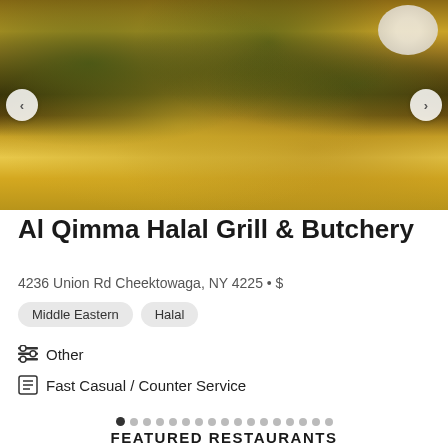[Figure (photo): Food photo showing a dish with rice/orzo, dark meat, herbs/greens on flatbread, with a white sauce bowl in the top right corner. Navigation arrows on left and right sides.]
Al Qimma Halal Grill & Butchery
4236 Union Rd Cheektowaga, NY 4225 • $
Middle Eastern
Halal
Other
Fast Casual / Counter Service
FEATURED RESTAURANTS